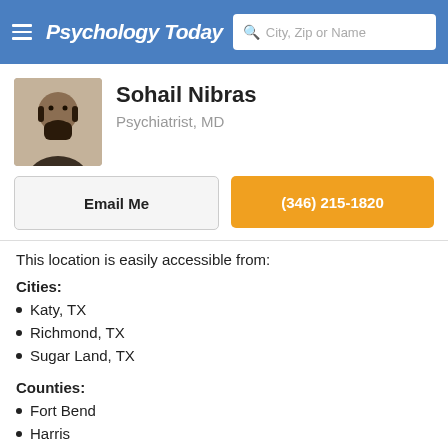Psychology Today — City, Zip or Name
Sohail Nibras
Psychiatrist, MD
Email Me
(346) 215-1820
This location is easily accessible from:
Cities:
Katy, TX
Richmond, TX
Sugar Land, TX
Counties:
Fort Bend
Harris
Zips: